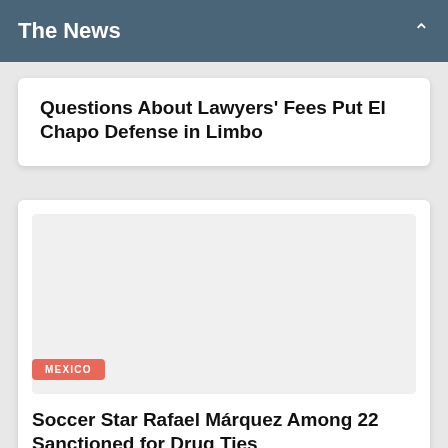The News
Questions About Lawyers' Fees Put El Chapo Defense in Limbo
[Figure (photo): Placeholder image area with MEXICO badge label]
Soccer Star Rafael Márquez Among 22 Sanctioned for Drug Ties